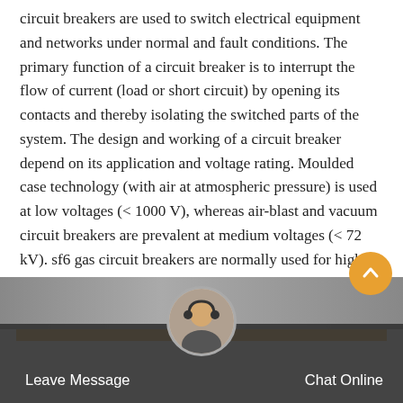circuit breakers are used to switch electrical equipment and networks under normal and fault conditions. The primary function of a circuit breaker is to interrupt the flow of current (load or short circuit) by opening its contacts and thereby isolating the switched parts of the system. The design and working of a circuit breaker depend on its application and voltage rating. Moulded case technology (with air at atmospheric pressure) is used at low voltages (< 1000 V), whereas air-blast and vacuum circuit breakers are prevalent at medium voltages (< 72 kV). sf6 gas circuit breakers are normally used for high voltagesystems ( 72 kV). Disconnecting a Load Interrupting a Fault
[Figure (other): Orange 'Get Price' call-to-action button]
[Figure (photo): Dark footer bar with customer service representative avatar, Leave Message and Chat Online buttons, and back-to-top arrow button]